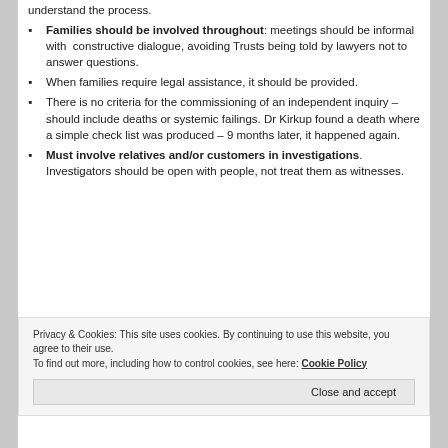understand the process.
Families should be involved throughout: meetings should be informal with constructive dialogue, avoiding Trusts being told by lawyers not to answer questions.
When families require legal assistance, it should be provided.
There is no criteria for the commissioning of an independent inquiry – should include deaths or systemic failings. Dr Kirkup found a death where a simple check list was produced – 9 months later, it happened again.
Must involve relatives and/or customers in investigations. Investigators should be open with people, not treat them as witnesses.
Privacy & Cookies: This site uses cookies. By continuing to use this website, you agree to their use. To find out more, including how to control cookies, see here: Cookie Policy
Close and accept